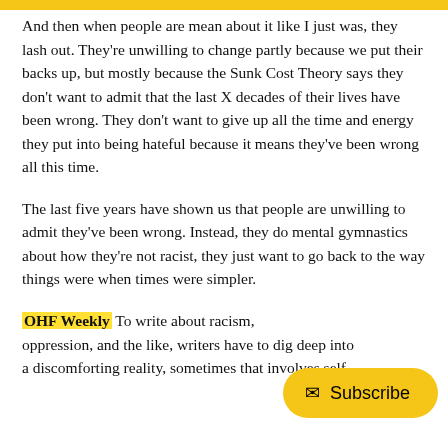And then when people are mean about it like I just was, they lash out. They're unwilling to change partly because we put their backs up, but mostly because the Sunk Cost Theory says they don't want to admit that the last X decades of their lives have been wrong. They don't want to give up all the time and energy they put into being hateful because it means they've been wrong all this time.
The last five years have shown us that people are unwilling to admit they've been wrong. Instead, they do mental gymnastics about how they're not racist, they just want to go back to the way things were when times were simpler.
OHF Weekly To write about racism, oppression, and the like, writers have to dig deep into a discomforting reality, sometimes that involves self-